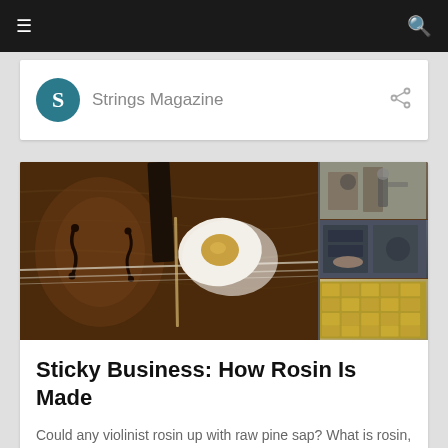Strings Magazine
[Figure (photo): Composite image: left side shows a violin with rosin on a white cloth resting on it and a bow; right side shows a collage of rosin manufacturing photos including workers and rosin cakes]
Sticky Business: How Rosin Is Made
Could any violinist rosin up with raw pine sap? What is rosin, anyway? Here's a look at how rosin is made and why it's